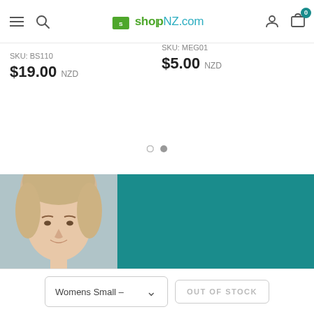shopNZ.com navigation header with hamburger menu, search, logo, user and cart icons
SKU: BS110
$19.00 NZD
SKU: MEG01
$5.00 NZD
[Figure (photo): Carousel pagination dots — one empty circle and one filled grey circle]
[Figure (photo): Teal/dark cyan banner background section with a partial photo of a blonde woman's face]
Womens Small –
OUT OF STOCK